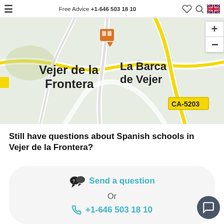Free Advice +1-646 503 18 10
[Figure (map): Street map showing Vejer de la Frontera and La Barca de Vejer, with road CA-5203 labeled in yellow. Map has zoom in/out controls on the right. An orange location pin icon is shown above the town name.]
Still have questions about Spanish schools in Vejer de la Frontera?
Send a question
Or
+1-646 503 18 10